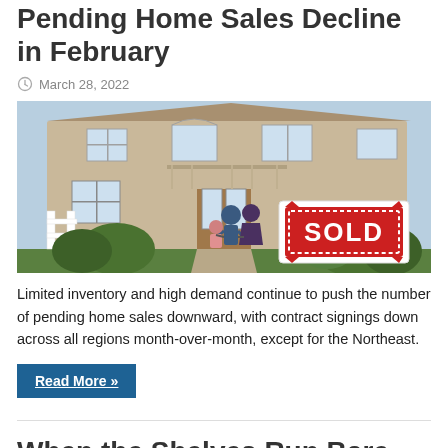Pending Home Sales Decline in February
March 28, 2022
[Figure (photo): A family walking toward a large brick house with a SOLD sign overlay in the lower right corner. Green trees and bushes line the path, with a white fence on the left.]
Limited inventory and high demand continue to push the number of pending home sales downward, with contract signings down across all regions month-over-month, except for the Northeast.
Read More »
When the Shelves Run Bare